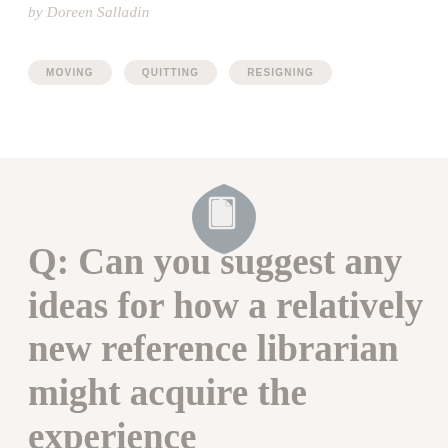by Doreen Salladin
MOVING
QUITTING
RESIGNING
[Figure (logo): Grey shield/drop shape with a document/page icon in white inside]
Q: Can you suggest any ideas for how a relatively new reference librarian might acquire the experience